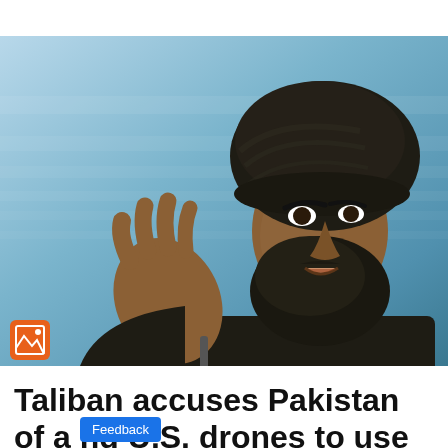[Figure (photo): A man wearing a dark turban and traditional clothing, gesturing with his hand while speaking, photographed against a blue background. An image placeholder icon appears in the bottom-left corner of the photo.]
Taliban accuses Pakistan of allowing U.S. drones to use